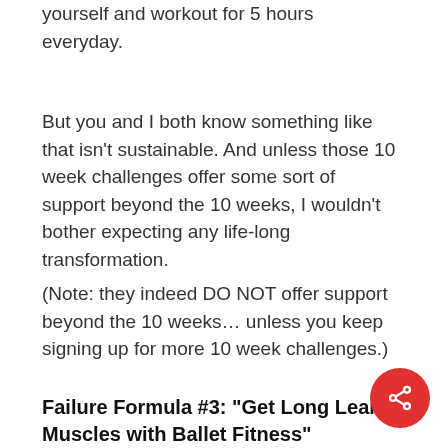yourself and workout for 5 hours everyday.
But you and I both know something like that isn't sustainable. And unless those 10 week challenges offer some sort of support beyond the 10 weeks, I wouldn't bother expecting any life-long transformation.
(Note: they indeed DO NOT offer support beyond the 10 weeks… unless you keep signing up for more 10 week challenges.)
Failure Formula #3: “Get Long Lean Muscles with Ballet Fitness”